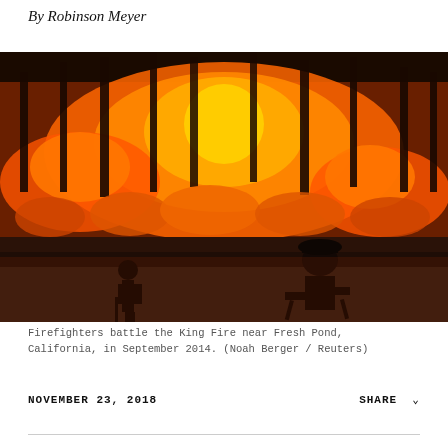By Robinson Meyer
[Figure (photo): Two firefighters silhouetted against a massive wildfire burning through forest at night. The fire illuminates the trees with intense orange and yellow flames. One firefighter stands holding tools, another sits in a folding chair in the foreground on a road.]
Firefighters battle the King Fire near Fresh Pond, California, in September 2014. (Noah Berger / Reuters)
NOVEMBER 23, 2018
SHARE